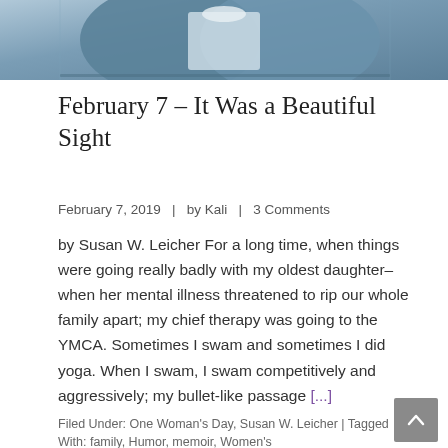[Figure (photo): Cropped photo showing a person wearing a white t-shirt and denim jacket, blue-grey toned]
February 7 – It Was a Beautiful Sight
February 7, 2019   |   by Kali   |   3 Comments
by Susan W. Leicher For a long time, when things were going really badly with my oldest daughter–when her mental illness threatened to rip our whole family apart; my chief therapy was going to the YMCA. Sometimes I swam and sometimes I did yoga. When I swam, I swam competitively and aggressively; my bullet-like passage [...]
Filed Under: One Woman's Day, Susan W. Leicher | Tagged With: family, Humor, memoir, Women's